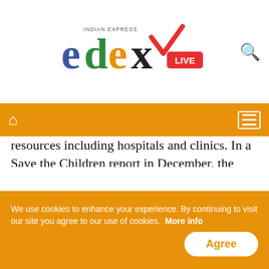edexLIVE - Indian Express logo
resources including hospitals and clinics. In a Save the Children report in December, the group said more than 300,000 Afghan children faced freezing winter conditions that could lead to illness and death without proper winter clothing and heating. The organisation provided winter kits to more than 100,000 families in 12 of Afghanistan's 34 provinces.
The kits included fuel and a heater, blankets
We use cookies to enhance your experience. By continuing to visit our site you agree to our use of cookies. More info